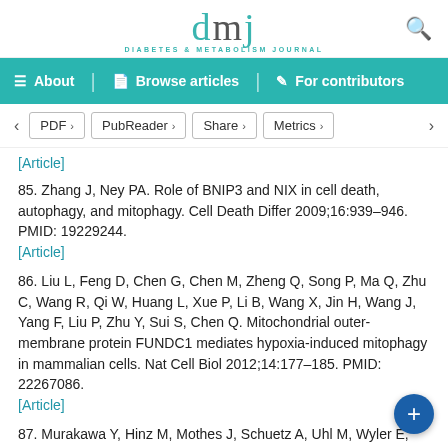dmj DIABETES & METABOLISM JOURNAL
About | Browse articles | For contributors
< PDF > PubReader > Share > Metrics >
[Article]
85. Zhang J, Ney PA. Role of BNIP3 and NIX in cell death, autophagy, and mitophagy. Cell Death Differ 2009;16:939-946. PMID: 19229244.
[Article]
86. Liu L, Feng D, Chen G, Chen M, Zheng Q, Song P, Ma Q, Zhu C, Wang R, Qi W, Huang L, Xue P, Li B, Wang X, Jin H, Wang J, Yang F, Liu P, Zhu Y, Sui S, Chen Q. Mitochondrial outer-membrane protein FUNDC1 mediates hypoxia-induced mitophagy in mammalian cells. Nat Cell Biol 2012;14:177-185. PMID: 22267086.
[Article]
87. Murakawa Y, Hinz M, Mothes J, Schuetz A, Uhl M, Wyler E,